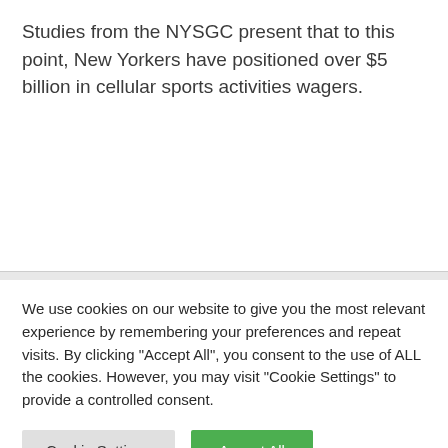Studies from the NYSGC present that to this point, New Yorkers have positioned over $5 billion in cellular sports activities wagers.
We use cookies on our website to give you the most relevant experience by remembering your preferences and repeat visits. By clicking "Accept All", you consent to the use of ALL the cookies. However, you may visit "Cookie Settings" to provide a controlled consent.